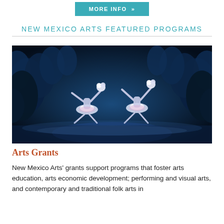MORE INFO »
NEW MEXICO ARTS FEATURED PROGRAMS
[Figure (photo): Two ballet dancers in white tutus performing leaps on a stage with dramatic blue lighting and dark evergreen tree backdrop, holding white floral bouquets above their heads.]
Arts Grants
New Mexico Arts' grants support programs that foster arts education, arts economic development; performing and visual arts, and contemporary and traditional folk arts in